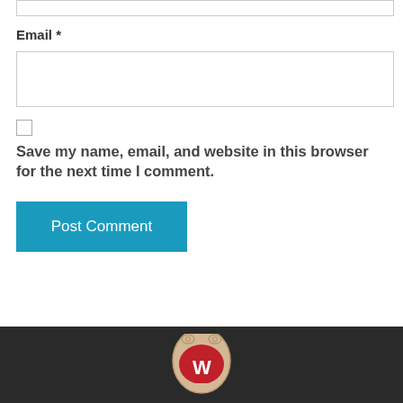[Figure (other): Top input field (partial, cropped at top of page)]
Email *
[Figure (other): Email text input field (empty)]
[Figure (other): Checkbox (unchecked)]
Save my name, email, and website in this browser for the next time I comment.
[Figure (other): Post Comment button (blue)]
[Figure (logo): University of Wisconsin-Madison Bucky Badger logo at bottom footer on dark background]